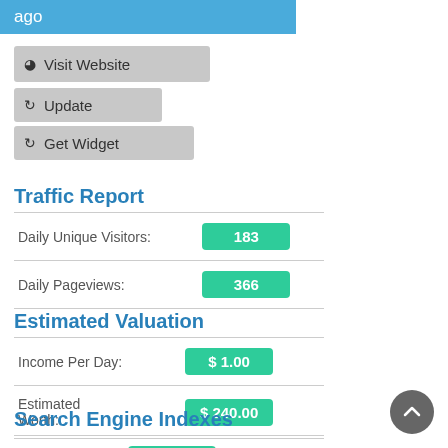ago
Visit Website
Update
Get Widget
Traffic Report
| Daily Unique Visitors: | 183 |
| Daily Pageviews: | 366 |
Estimated Valuation
| Income Per Day: | $ 1.00 |
| Estimated Worth: | $ 240.00 |
Search Engine Indexes
| Google | 12,900 |